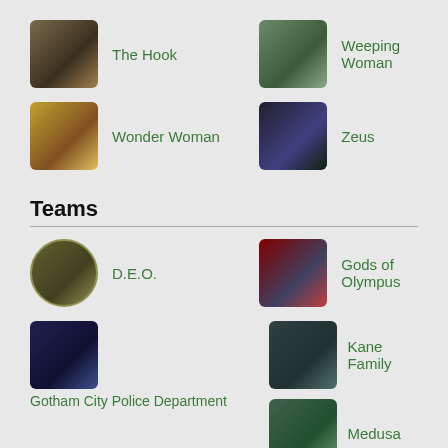The Hook
Weeping Woman
Wonder Woman
Zeus
Teams
D.E.O.
Gods of Olympus
Gotham City Police Department
Kane Family
Medusa
Religion of Crime
Locations